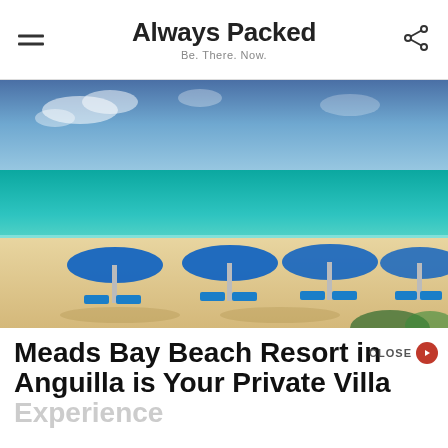Always Packed — Be. There. Now.
[Figure (photo): Tropical beach scene with turquoise water, white sand, four blue beach umbrellas with lounge chairs arranged in pairs on the shore, and a partly cloudy blue sky.]
Meads Bay Beach Resort in Anguilla is Your Private Villa Experience